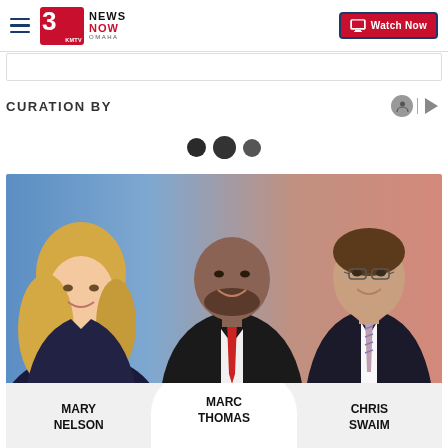3 News Now KMTV Omaha | Watch Now
CURATION BY
[Figure (photo): Three news anchors: Mary Nelson (blonde woman in dark blazer), Marc Thomas (man in dark suit with red tie), Chris Swaim (man with glasses in dark suit with striped tie), posed against blue and warm-toned gradient background]
MARY NELSON
MARC THOMAS
CHRIS SWAIM